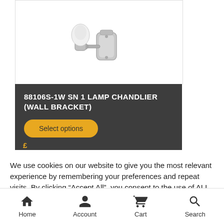[Figure (photo): Wall bracket chandelier lamp, silver/nickel finish, single lamp, shown mounted on decorative backplate]
88106S-1W SN 1 LAMP CHANDLIER (WALL BRACKET)
Select options
We use cookies on our website to give you the most relevant experience by remembering your preferences and repeat visits. By clicking “Accept All”, you consent to the use of ALL the cookies. However, you may visit “Cookie Settings” to provide a controlled consent.
Home  Account  Cart  Search